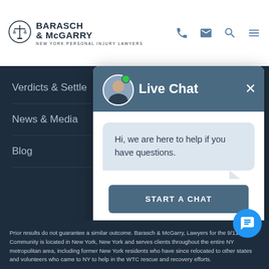[Figure (logo): Barasch & McGarry law firm logo with scales of justice icon]
Verdicts & Settle
News & Media
Blog
[Figure (screenshot): Live Chat popup overlay with attorney avatar, online indicator, chat bubble saying 'Hi, we are here to help if you have questions.', START A CHAT button, and NO THANKS link]
Prior results do not guarantee a similar outcome. Barasch & McGarry, Lawyers for the 9/11 Community is located in New York, New York and serves clients throughout the entire NY metropolitan area, including former New York residents who have since relocated to other states and volunteers who came to NY to help in the WTC rescue and recovery efforts.